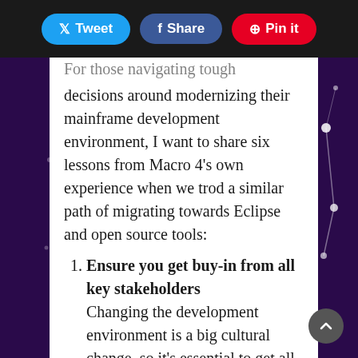Tweet  Share  Pin it
For those navigating tough decisions around modernizing their mainframe development environment, I want to share six lessons from Macro 4's own experience when we trod a similar path of migrating towards Eclipse and open source tools:
Ensure you get buy-in from all key stakeholders — Changing the development environment is a big cultural change, so it's essential to get all interested parties involved. This especially includes experienced mainframers on your team who may have a long history with the outgoing